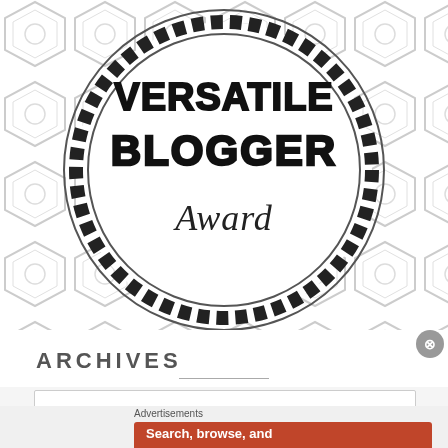[Figure (illustration): Versatile Blogger Award badge — circular rope border on hexagon patterned background, with bold dotted-outline text 'VERSATILE BLOGGER' and cursive script 'Award' inside the circle.]
ARCHIVES
[Figure (screenshot): DuckDuckGo advertisement banner with orange background. Text: 'Search, browse, and email with more privacy. All in One Free App'. Shows a phone with DuckDuckGo logo.]